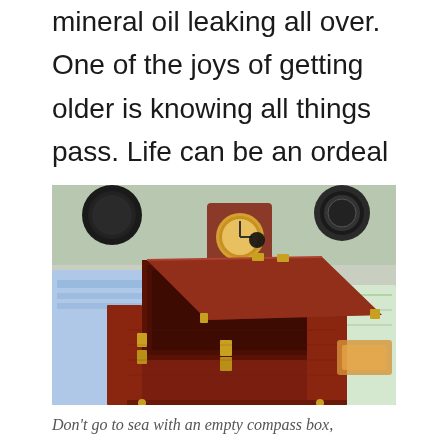mineral oil leaking all over. One of the joys of getting older is knowing all things pass. Life can be an ordeal or an adventure, it is all about attitude.
[Figure (photo): An open wooden box (compass box) with brass hinges and fittings, sitting on a navigation chart table with instruments in the background including a clock and compass.]
Don't go to sea with an empty compass box,